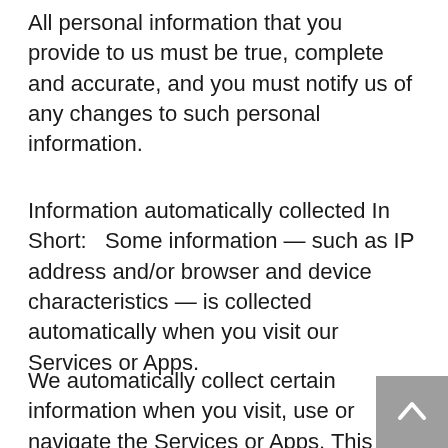All personal information that you provide to us must be true, complete and accurate, and you must notify us of any changes to such personal information.
Information automatically collected In Short:   Some information — such as IP address and/or browser and device characteristics — is collected automatically when you visit our Services or Apps.
We automatically collect certain information when you visit, use or navigate the Services or Apps. This information does not reveal your specific identity (like your name or contact information) but may include device and usage information, such as your IP address, browser and device characteristics, operating system, language preferences, referring URLs, device name, country